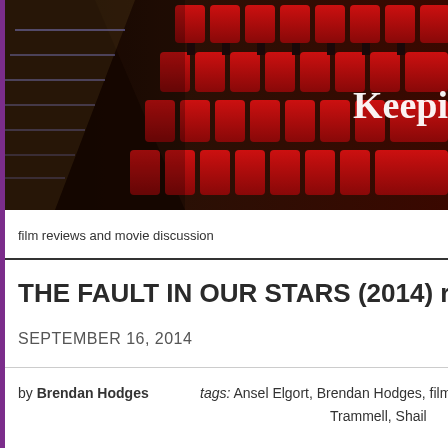[Figure (photo): Banner photo of red cinema/theater seats with illuminated aisle steps, dark background. Text overlay 'Keepi' visible on right side.]
film reviews and movie discussion
THE FAULT IN OUR STARS (2014) r
SEPTEMBER 16, 2014
by Brendan Hodges    tags: Ansel Elgort, Brendan Hodges, film, Jo Trammell, Shail